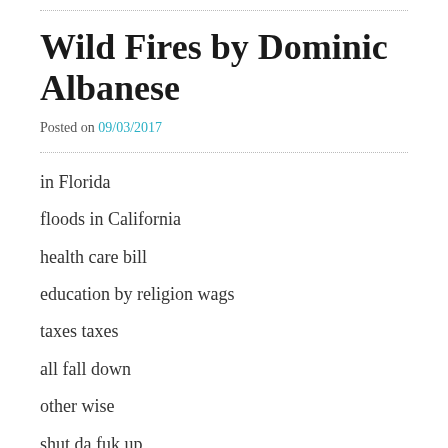Wild Fires by Dominic Albanese
Posted on 09/03/2017
in Florida
floods in California
health care bill
education by religion wags
taxes taxes
all fall down
other wise
shut da fuk up
n